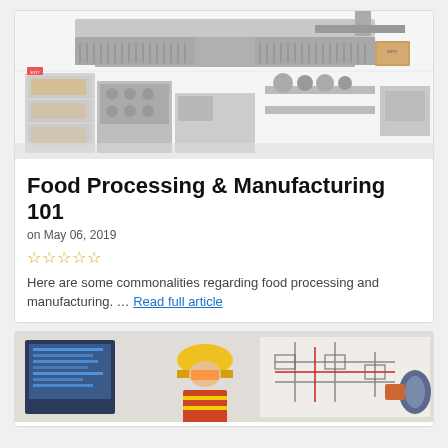[Figure (photo): Commercial kitchen with stainless steel equipment including ovens, ranges, and shelving units against white tile walls]
Food Processing & Manufacturing 101
on May 06, 2019
[Figure (other): Five-star rating widget with outlined (empty) gold stars]
Here are some commonalities regarding food processing and manufacturing. … Read full article
[Figure (photo): Industrial worker in yellow hard hat and safety gear near machinery and control panel with diagrams]